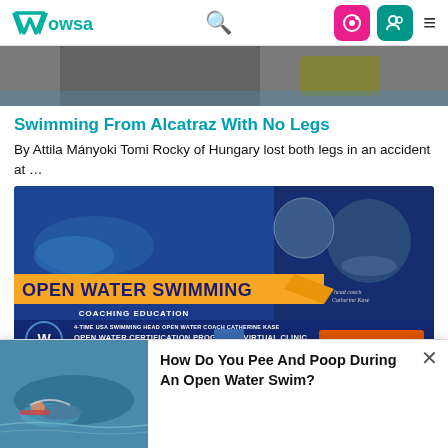WOWSA
[Figure (photo): Partial top of article hero image showing people near water]
Swimming From Alcatraz With No Legs
By Attila Mányoki Tomi Rocky of Hungary lost both legs in an accident at …
[Figure (infographic): Open Water Swimming Coaching Education banner ad featuring 4-time USA Swimming Head Open Water Coach Catherine Kase. Open Water Certification Program + Virtual Clinic in partnership with ASCA. Register Now button.]
[Figure (photo): Swimmer in open water, partial view at bottom left]
How Do You Pee And Poop During An Open Water Swim?